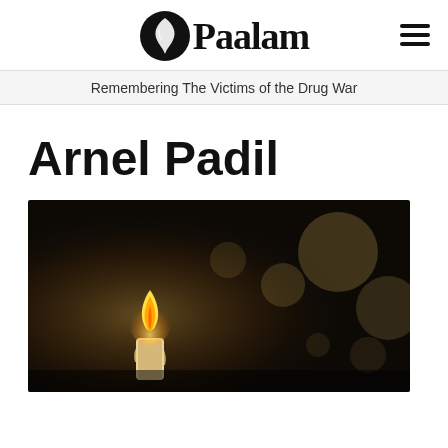Paalam
Remembering The Victims of the Drug War
Arnel Padil
[Figure (photo): A lit candle in the foreground against a dark background, with several blurred bokeh light circles in the background suggesting other candles.]